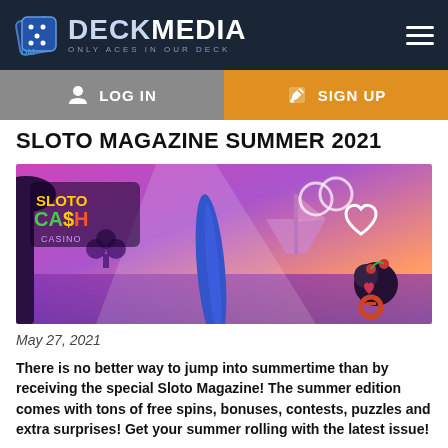DECK MEDIA — ONLY ACES IN OUR DECK
[Figure (logo): Deck Media logo with dice icon and tagline 'Only Aces in Our Deck']
LOG IN
SIGN UP
SLOTO MAGAZINE SUMMER 2021
[Figure (illustration): Sloto Cash Casino promotional banner image with purple/pink sky, surfboard, cherry character and heart symbols]
May 27, 2021
There is no better way to jump into summertime than by receiving the special Sloto Magazine! The summer edition comes with tons of free spins, bonuses, contests, puzzles and extra surprises! Get your summer rolling with the latest issue!